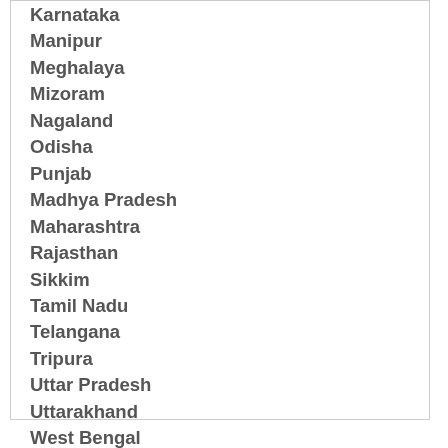Karnataka
Manipur
Meghalaya
Mizoram
Nagaland
Odisha
Punjab
Madhya Pradesh
Maharashtra
Rajasthan
Sikkim
Tamil Nadu
Telangana
Tripura
Uttar Pradesh
Uttarakhand
West Bengal
Andhra Pradesh